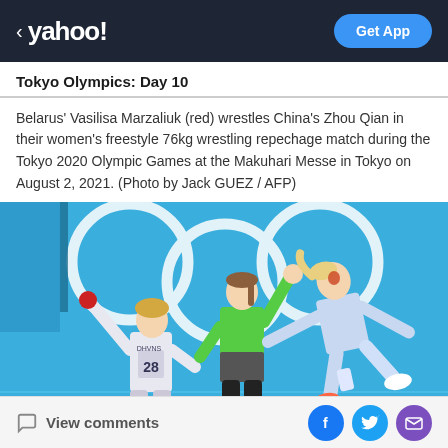< yahoo!  Get App
Tokyo Olympics: Day 10
Belarus' Vasilisa Marzaliuk (red) wrestles China's Zhou Qian in their women's freestyle 76kg wrestling repechage match during the Tokyo 2020 Olympic Games at the Makuhari Messe in Tokyo on August 2, 2021. (Photo by Jack GUEZ / AFP)
[Figure (photo): Sports photo showing women field hockey players celebrating on a blue court with the Olympic rings painted on the surface. One player in green shirt (referee or player) has hand raised, another player in light blue uniform is jumping with arms spread, and a third player wearing jersey number 28 has arm raised.]
View comments